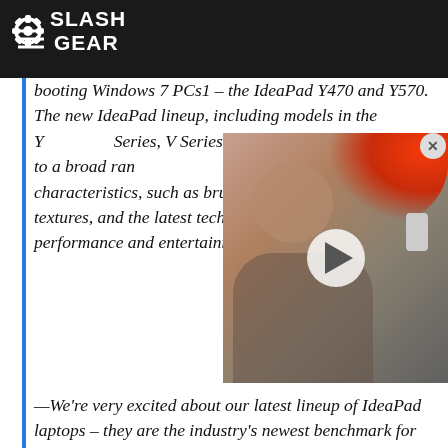SlashGear
booting Windows 7 PCs1 – the IdeaPad Y470 and Y570. The new IdeaPad lineup, including models in the Y Series, B Series, V Series and Lenovo Series — appeal to a broad range of consumers with stylish, modern design characteristics, such as brushed metal covers and raised textures, and the latest technology for enhanced performance and entertainment capabilities.
[Figure (photo): Video overlay showing a person with red/orange hair holding a phone, with a play button overlay]
—We're very excited about our latest lineup of IdeaPad laptops – they are the industry's newest benchmark for consumer PC design,‖ said Dion Weisler, vice president, business operations, Lenovo. —We've enriched our